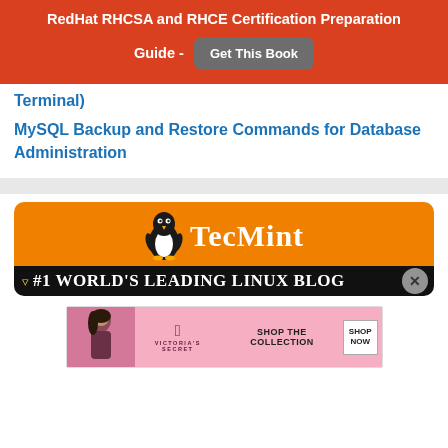RedHat RHCSA and RHCE Certification Preparation Guide - Get This Book
Terminal)
MySQL Backup and Restore Commands for Database Administration
[Figure (logo): TecMint logo banner: orange background with Linux penguin mascot and TecMint text, black bar below with '#1 World's Leading Linux Blog' text and close button]
[Figure (screenshot): Victoria's Secret advertisement: pink background with model photo, VS logo, 'Shop The Collection' text, and 'Shop Now' button]